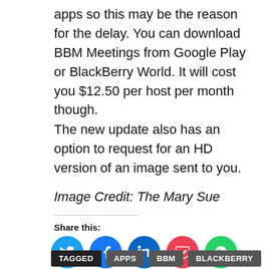apps so this may be the reason for the delay. You can download BBM Meetings from Google Play or BlackBerry World. It will cost you $12.50 per host per month though.
The new update also has an option to request for an HD version of an image sent to you.
Image Credit: The Mary Sue
Share this:
[Figure (infographic): Social sharing icons: Twitter (blue), Facebook (blue), LinkedIn (dark blue), Pocket (red), WhatsApp (green)]
TAGGED   APPS   BBM   BLACKBERRY